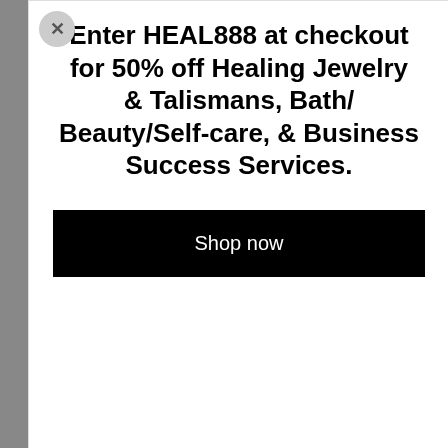[Figure (screenshot): A modal popup overlay on a webpage with a close (X) button, promotional text, and a 'Shop now' button. Behind the modal, partially obscured body text is visible on both sides.]
Enter HEAL888 at checkout for 50% off Healing Jewelry & Talismans, Bath/ Beauty/Self-care, & Business Success Services.
Shop now
Wh... ...ch St... ...ny mi... ...at ins... ...ng sw... ...ts, es...
Wh... ...rs wo... ...se Di... ...n't st... ...at